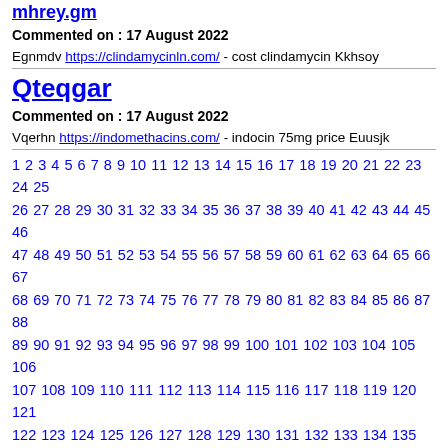mhrey.gm (link)
Commented on : 17 August 2022
Egnmdv https://clindamycinln.com/ - cost clindamycin Kkhsoy
Qteqgar
Commented on : 17 August 2022
Vqerhn https://indomethacins.com/ - indocin 75mg price Euusjk
1 2 3 4 5 6 7 8 9 10 11 12 13 14 15 16 17 18 19 20 21 22 23 24 25 26 27 28 29 30 31 32 33 34 35 36 37 38 39 40 41 42 43 44 45 46 47 48 49 50 51 52 53 54 55 56 57 58 59 60 61 62 63 64 65 66 67 68 69 70 71 72 73 74 75 76 77 78 79 80 81 82 83 84 85 86 87 88 89 90 91 92 93 94 95 96 97 98 99 100 101 102 103 104 105 106 107 108 109 110 111 112 113 114 115 116 117 118 119 120 121 122 123 124 125 126 127 128 129 130 131 132 133 134 135 136 137 138 139 140 141 142 143 144 145 146 147 148 149 150 151 152 153 154 155 156 157 158 159 160 161 162 163 164 165 166